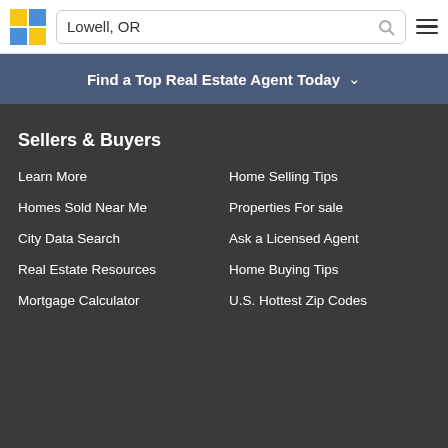Lowell, OR
Find a Top Real Estate Agent Today
Sellers & Buyers
Learn More
Home Selling Tips
Homes Sold Near Me
Properties For sale
City Data Search
Ask a Licensed Agent
Real Estate Resources
Home Buying Tips
Mortgage Calculator
U.S. Hottest Zip Codes